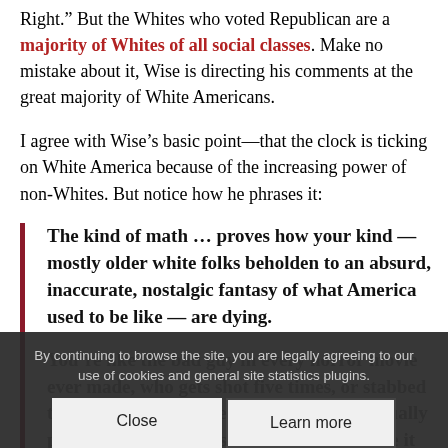Right." But the Whites who voted Republican are a majority of Whites of all social classes. Make no mistake about it, Wise is directing his comments at the great majority of White Americans.
I agree with Wise's basic point—that the clock is ticking on White America because of the increasing power of non-Whites. But notice how he phrases it:
The kind of math … proves how your kind — mostly older white folks beholden to an absurd, inaccurate, nostalgic fantasy of what America used to be like — are dying.

You're like the bad guy in every horror movie ever made, who gets shot five times, or stabbed ten, or blown up twice, and who will eventually pass — even if it takes four sequels to make it happen — and who in the meantime keeps coming back, clutching at our ankles as we walk away, having been
By continuing to browse the site, you are legally agreeing to our use of cookies and general site statistics plugins.